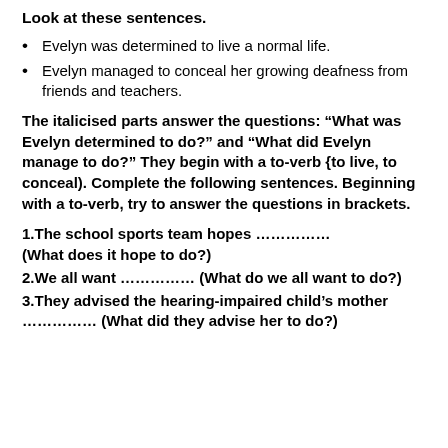Look at these sentences.
Evelyn was determined to live a normal life.
Evelyn managed to conceal her growing deafness from friends and teachers.
The italicised parts answer the questions: “What was Evelyn determined to do?” and “What did Evelyn manage to do?” They begin with a to-verb {to live, to conceal). Complete the following sentences. Beginning with a to-verb, try to answer the questions in brackets.
1.The school sports team hopes …………… (What does it hope to do?)
2.We all want …………… (What do we all want to do?)
3.They advised the hearing-impaired child’s mother …………… (What did they advise her to do?)